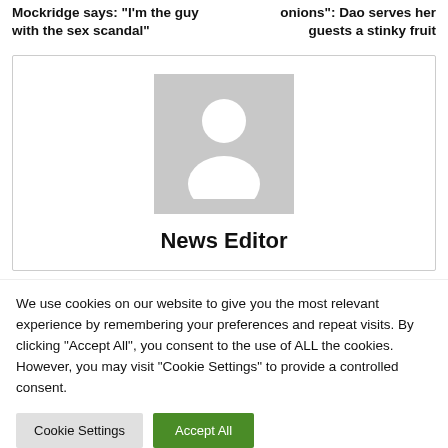Mockridge says: “I’m the guy with the sex scandal”
onions”: Dao serves her guests a stinky fruit
[Figure (illustration): Profile card with a generic grey placeholder avatar showing a silhouette of a person, with the label 'News Editor' below it.]
News Editor
We use cookies on our website to give you the most relevant experience by remembering your preferences and repeat visits. By clicking “Accept All”, you consent to the use of ALL the cookies. However, you may visit "Cookie Settings" to provide a controlled consent.